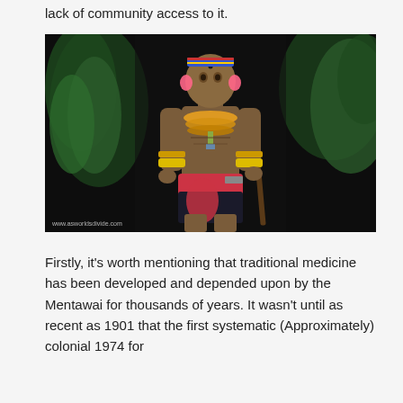lack of community access to it.
[Figure (photo): A Mentawai man wearing traditional attire including beaded headband, colorful necklaces, red cloth wrap, yellow woven bracelets, standing in a jungle/forest setting. Watermark reads www.asworldsdivide.com]
Firstly, it's worth mentioning that traditional medicine has been developed and depended upon by the Mentawai for thousands of years. It wasn't until as recent as 1901 that the first systematic (Approximately) colonial 1974 for